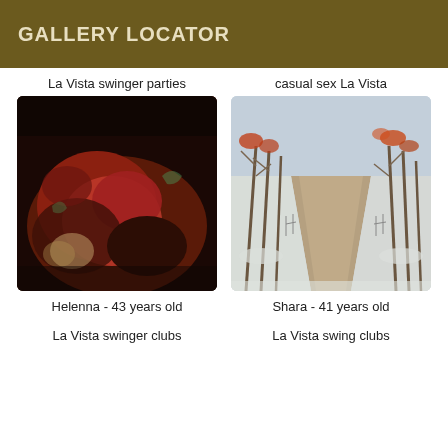GALLERY LOCATOR
La Vista swinger parties
[Figure (photo): Close-up photo of a tattooed woman in red clothing lying down]
Helenna - 43 years old
La Vista swinger clubs
casual sex La Vista
[Figure (photo): Snowy winter road lined with bare trees and orange-red leaves]
Shara - 41 years old
La Vista swing clubs